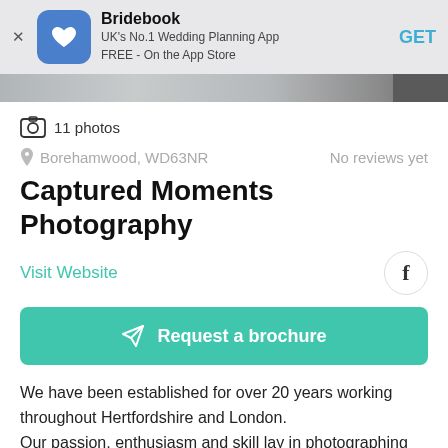[Figure (screenshot): Bridebook app banner with blue rounded square icon showing a heart shape, app name 'Bridebook', subtitle 'UK's No.1 Wedding Planning App FREE - On the App Store', and GET button]
11 photos
Borehamwood, WD63NR
No reviews yet
Captured Moments Photography
Visit Website
Request a brochure
We have been established for over 20 years working throughout Hertfordshire and London.
Our passion, enthusiasm and skill lay in photographing people… namely you and your loved ones.